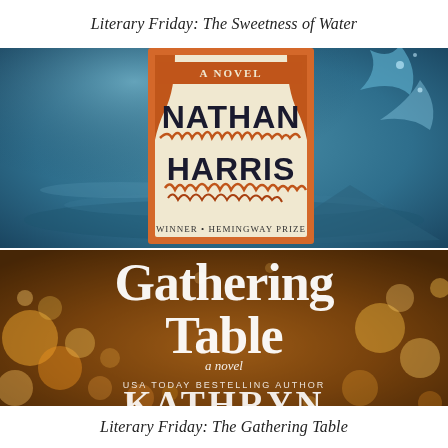Literary Friday: The Sweetness of Water
[Figure (photo): Book cover of 'The Sweetness of Water, A Novel' by Nathan Harris, displayed against a water splash background. The cover features bold dark lettering for NATHAN HARRIS with red flame-like designs, on an orange and cream background with two facing silhouettes.]
[Figure (photo): Book cover of 'Gathering Table, a novel' by Kathryn, described as a USA Today Bestselling Author, displayed against a warm bokeh background of golden lights. The title is in large white serif text.]
Literary Friday: The Gathering Table